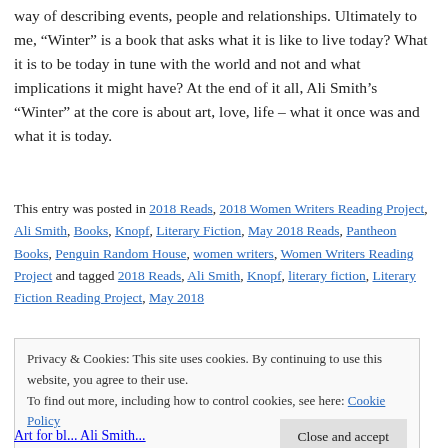way of describing events, people and relationships. Ultimately to me, “Winter” is a book that asks what it is like to live today? What it is to be today in tune with the world and not and what implications it might have? At the end of it all, Ali Smith’s “Winter” at the core is about art, love, life – what it once was and what it is today.
This entry was posted in 2018 Reads, 2018 Women Writers Reading Project, Ali Smith, Books, Knopf, Literary Fiction, May 2018 Reads, Pantheon Books, Penguin Random House, women writers, Women Writers Reading Project and tagged 2018 Reads, Ali Smith, Knopf, literary fiction, Literary Fiction Reading Project, May 2018
Privacy & Cookies: This site uses cookies. By continuing to use this website, you agree to their use.
To find out more, including how to control cookies, see here: Cookie Policy
Close and accept